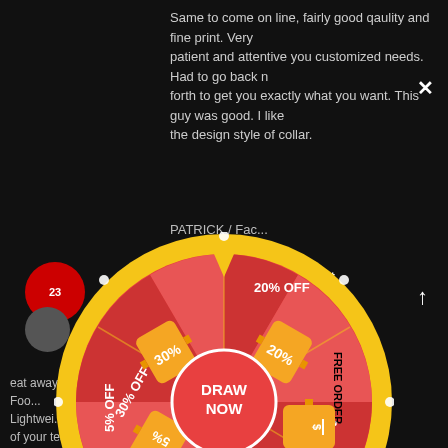Same to come on line, fairly good qaulity and fine print. Very patient and attentive you customized needs. Had to go back n forth to get you exactly what you want. This guy was good. I like the design style of collar.
PATRICK / Fac...
[Figure (infographic): Spin-the-wheel prize wheel with sections: 30% OFF, 20% OFF, FREE ORDER, 10% OFF, 50% OFF, 5% OFF. Center button reads DRAW NOW. Wheel is pink/red with orange ticket icons. Yellow glowing border.]
Can't wait for
g, premium tag neck o, name
ame out
eat away from thable Sublimation Breathable Fabric, Lightweight you can customize any logo of your team. Team Number. Suitable for individuals